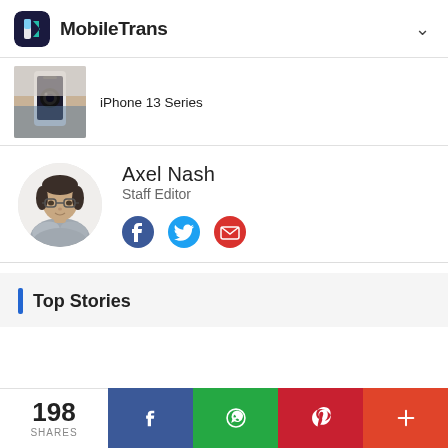MobileTrans
[Figure (photo): Partial article card showing a hand holding an iPhone with a dark screen, with text 'iPhone 13 Series']
iPhone 13 Series
[Figure (photo): Author profile photo of Axel Nash, a man with glasses and crossed arms wearing a gray t-shirt]
Axel Nash
Staff Editor
Top Stories
198
SHARES